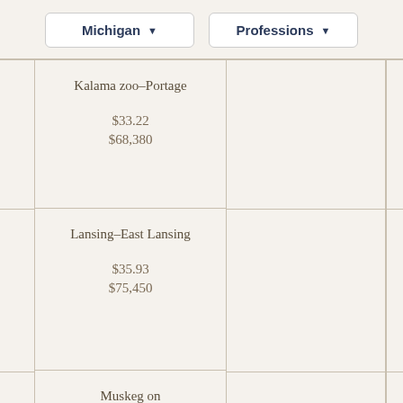Michigan ▼
Professions ▼
| City | Hourly / Annual |
| --- | --- |
| Kalamazoo-Portage | $33.22
$68,380 |
| Lansing-East Lansing | $35.93
$75,450 |
| Muskegon | $32.19 |